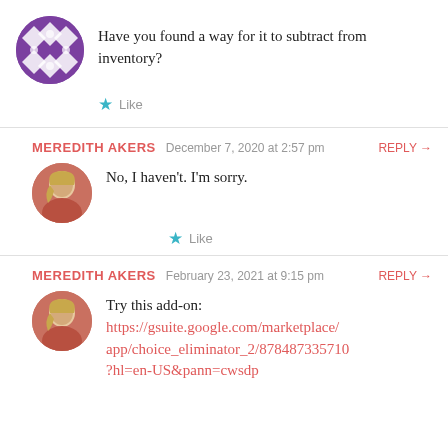Have you found a way for it to subtract from inventory?
★ Like
MEREDITH AKERS   December 7, 2020 at 2:57 pm   REPLY →
No, I haven't. I'm sorry.
★ Like
MEREDITH AKERS   February 23, 2021 at 9:15 pm   REPLY →
Try this add-on: https://gsuite.google.com/marketplace/app/choice_eliminator_2/878487335710?hl=en-US&pann=cwsdp